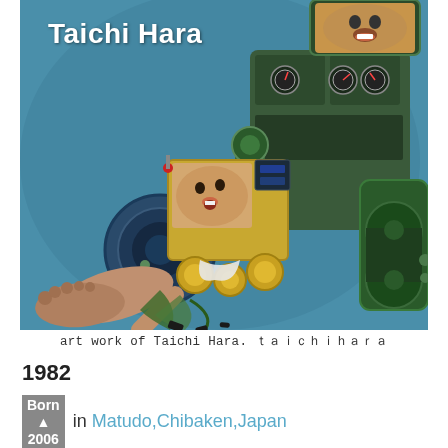[Figure (illustration): Surrealist painting by Taichi Hara showing a robot/machine with human faces embedded in it — a smiling man's face visible in the robot's head, a baby's face visible in the midsection. The machine has gold/yellow mechanical parts, green metallic joints, gauges, and human legs sticking out from the bottom. Background is teal/blue. White text 'Taichi Hara' overlaid in top-left corner.]
art work of Taichi Hara. ｔａｉｃｈｉｈａｒａ
1982
Born in Matudo,Chibaken,Japan
2006